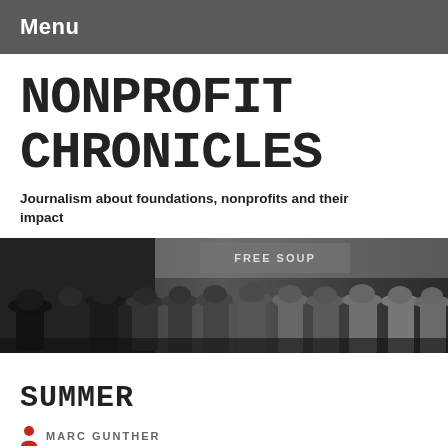Menu
NONPROFIT CHRONICLES
Journalism about foundations, nonprofits and their impact
[Figure (photo): Black and white photograph of a crowd of men in hats standing in line outside a building with a 'FREE SOUP' sign, Depression-era scene.]
SUMMER
MARC GUNTHER